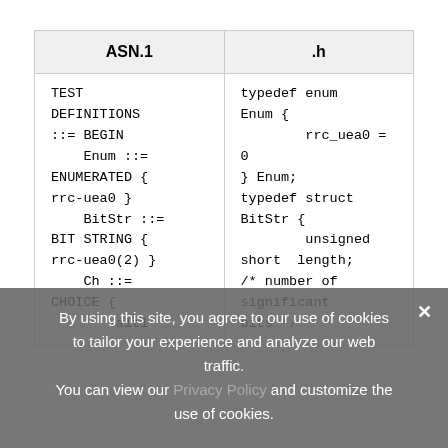| ASN.1 | .h |
| --- | --- |
| TEST
DEFINITIONS
::= BEGIN
    Enum ::=
ENUMERATED {
rrc-uea0 }
    BitStr ::=
BIT STRING {
rrc-uea0(2) }
    Ch ::=
CHOICE {
        alt1 | typedef enum
Enum {
        rrc_uea0 =
0
} Enum;
typedef struct
BitStr {
        unsigned
short  length;
/* number of
significant
bits */ |
By using this site, you agree to our use of cookies to tailor your experience and analyze our web traffic.
You can view our Privacy Policy and customize the use of cookies.